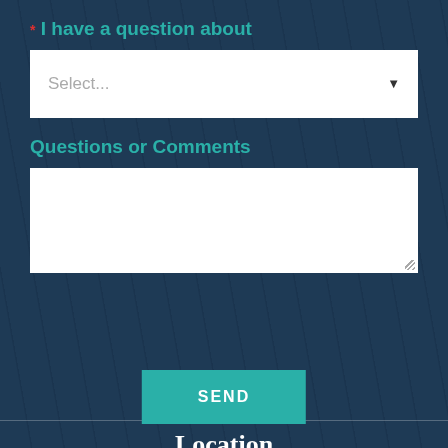* I have a question about
Select...
Questions or Comments
SEND
Location
1551 N. Tustin Ave.
Suite # 1020
Santa Ana, CA 92705